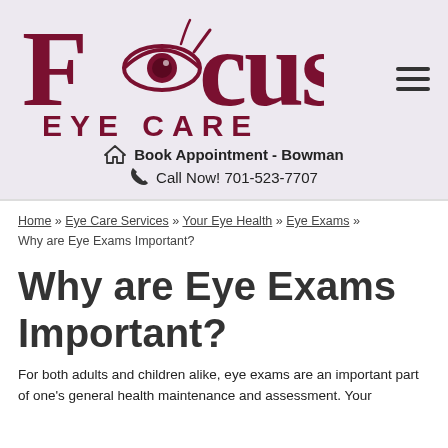[Figure (logo): Focus Eye Care logo with stylized eye replacing the 'o' in Focus, dark red/maroon color]
Book Appointment - Bowman
Call Now! 701-523-7707
Home » Eye Care Services » Your Eye Health » Eye Exams » Why are Eye Exams Important?
Why are Eye Exams Important?
For both adults and children alike, eye exams are an important part of one's general health maintenance and assessment. Your